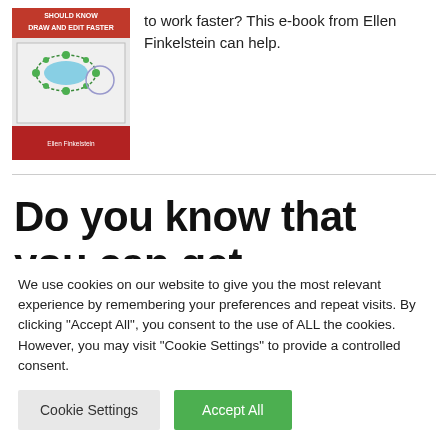[Figure (illustration): Book cover showing AutoCAD tips e-book by Ellen Finkelstein titled 'Should Know: Draw and Edit Faster']
to work faster? This e-book from Ellen Finkelstein can help.
Do you know that you can get Autodesk technology preview for
We use cookies on our website to give you the most relevant experience by remembering your preferences and repeat visits. By clicking "Accept All", you consent to the use of ALL the cookies. However, you may visit "Cookie Settings" to provide a controlled consent.
Cookie Settings | Accept All